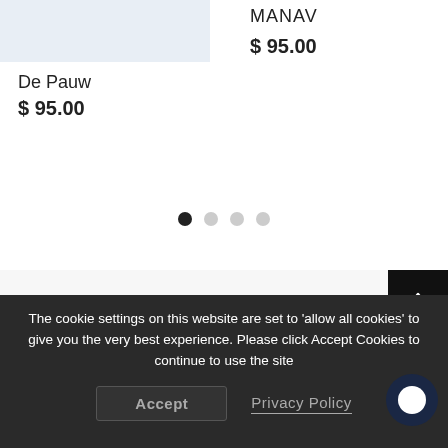[Figure (photo): Partial product image showing jeans on left side]
De Pauw
$ 95.00
MANAV
$ 95.00
[Figure (other): Carousel navigation dots: 4 dots, first filled black, rest gray]
CUSTOMER REVIEWS
The cookie settings on this website are set to 'allow all cookies' to give you the very best experience. Please click Accept Cookies to continue to use the site
Accept
Privacy Policy